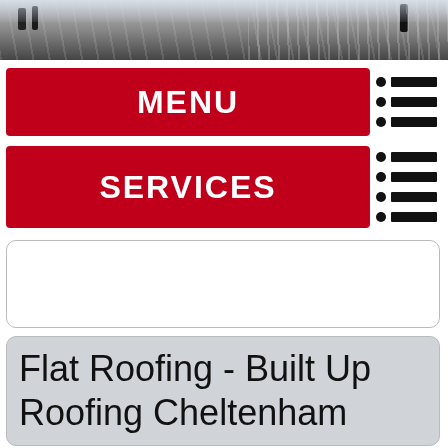[Figure (photo): Outdoor photo showing workers or people near a roof or elevated structure with sky and clouds in the background]
MENU
SERVICES
Flat Roofing - Built Up Roofing Cheltenham